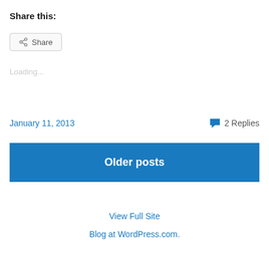Share this:
Share
Loading...
January 11, 2013
2 Replies
Older posts
View Full Site
Blog at WordPress.com.